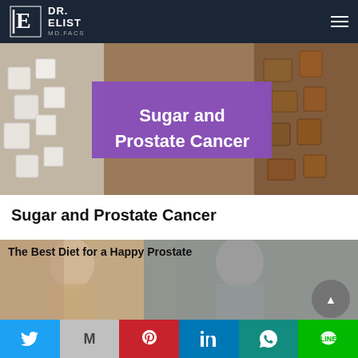Dr. Elist MD FACS
[Figure (illustration): Hero image showing sugar cubes on a wooden table with a purple banner overlay reading 'Sugar and Prostate Cancer']
Sugar and Prostate Cancer
[Figure (photo): Couple about to kiss with text overlay 'The Best Diet for a Happy Prostate']
Social sharing bar with Twitter, Gmail, Pinterest, LinkedIn, WhatsApp, Line buttons